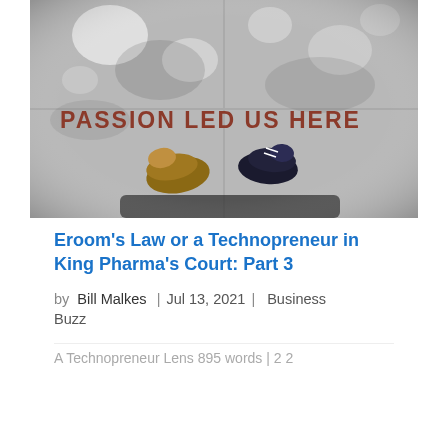[Figure (photo): Overhead view of two people standing on a paved surface with the text 'PASSION LED US HERE' written on the ground in large letters]
Eroom's Law or a Technopreneur in King Pharma's Court: Part 3
by   Bill Malkes   | Jul 13, 2021 |   Business Buzz
A Technopreneur Lens 895 words | 2 2